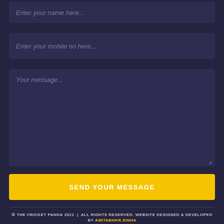Enter your name here...
Enter your mobile no here...
Your message...
SEND YOUR MESSAGE
© THE CRICKET PANDA 2021 | ALL RIGHTS RESERVED. WEBSITE DESIGNED & DEVELOPED BY AMITABHKR.SINHA
ABOUT US
STATS
BLOGS
POLLS
PRIVACY POLICY
CONTACT US